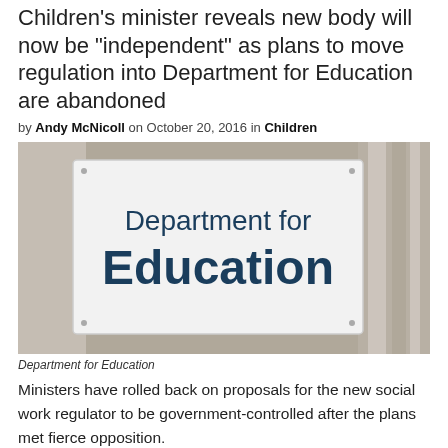Children's minister reveals new body will now be “independent” as plans to move regulation into Department for Education are abandoned
by Andy McNicoll on October 20, 2016 in Children
[Figure (photo): Photograph of a sign reading 'Department for Education' mounted on a building exterior]
Department for Education
Ministers have rolled back on proposals for the new social work regulator to be government-controlled after the plans met fierce opposition.